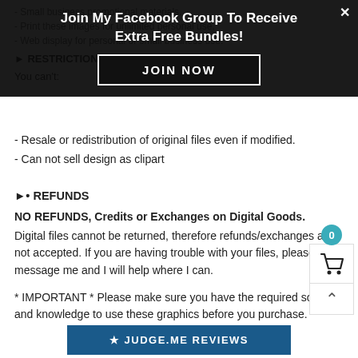[Figure (screenshot): Dark overlay popup banner with title 'Join My Facebook Group To Receive Extra Free Bundles!' and a 'JOIN NOW' button with white border on black background, and an X close button.]
- Small business promotional materials.
- Print these images for unlimited personal use.
- Web display for personal or small business use.
► RESTRICTIONS
You can't:
- Resale or redistribution of original files even if modified.
- Can not sell design as clipart
►• REFUNDS
NO REFUNDS, Credits or Exchanges on Digital Goods.
Digital files cannot be returned, therefore refunds/exchanges are not accepted. If you are having trouble with your files, please message me and I will help where I can.
* IMPORTANT * Please make sure you have the required software and knowledge to use these graphics before you purchase.
[Figure (other): Blue 'JUDGE.ME REVIEWS' button with star icon and shopping cart widget with badge showing 0]